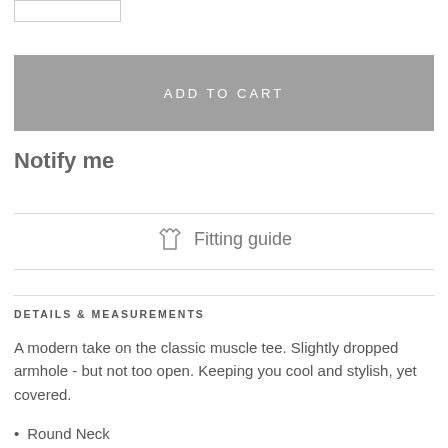[Figure (other): Quantity input box, partially visible at top of page]
ADD TO CART
Notify me
Fitting guide
DETAILS & MEASUREMENTS
A modern take on the classic muscle tee. Slightly dropped armhole - but not too open. Keeping you cool and stylish, yet covered.
Round Neck